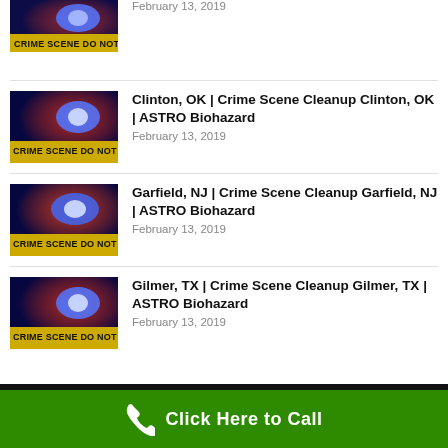February 13, 2019
Clinton, OK | Crime Scene Cleanup Clinton, OK | ASTRO Biohazard
February 13, 2019
Garfield, NJ | Crime Scene Cleanup Garfield, NJ | ASTRO Biohazard
February 13, 2019
Gilmer, TX | Crime Scene Cleanup Gilmer, TX | ASTRO Biohazard
February 13, 2019
Click Here to Call